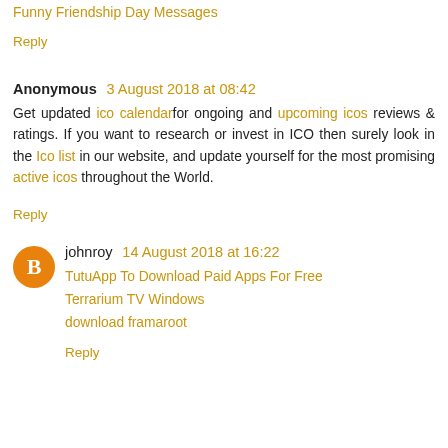Funny Friendship Day Messages
Reply
Anonymous 3 August 2018 at 08:42
Get updated ico calendar for ongoing and upcoming icos reviews & ratings. If you want to research or invest in ICO then surely look in the Ico list in our website, and update yourself for the most promising active icos throughout the World.
Reply
johnroy 14 August 2018 at 16:22
TutuApp To Download Paid Apps For Free
Terrarium TV Windows
download framaroot
Reply